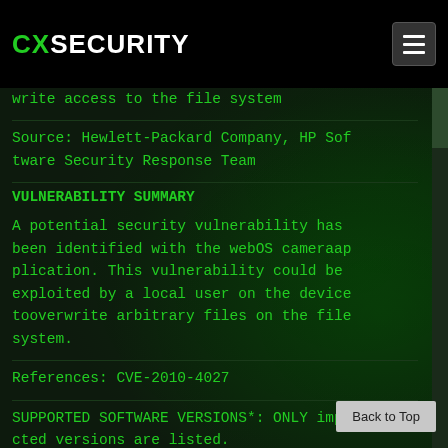CXSECURITY
write access to the file system
Source: Hewlett-Packard Company, HP Software Security Response Team
VULNERABILITY SUMMARY
A potential security vulnerability has been identified with the webOS cameraapplication. This vulnerability could be exploited by a local user on the device tooverwrite arbitrary files on the file system.
References: CVE-2010-4027
SUPPORTED SOFTWARE VERSIONS*: ONLY impacted versions are listed.